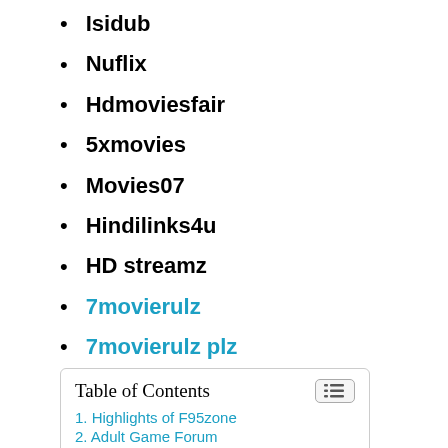Isidub
Nuflix
Hdmoviesfair
5xmovies
Movies07
Hindilinks4u
HD streamz
7movierulz
7movierulz plz
1kmovies
123telugu
Naa Rockers
Movierulz4
| Table of Contents |
| 1. Highlights of F95zone |
| 2. Adult Game Forum |